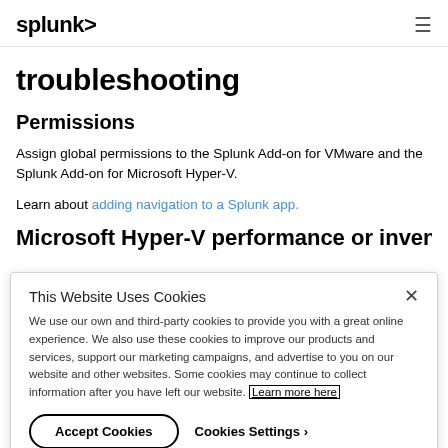splunk> [hamburger menu]
troubleshooting
Permissions
Assign global permissions to the Splunk Add-on for VMware and the Splunk Add-on for Microsoft Hyper-V.
Learn about adding navigation to a Splunk app.
Microsoft Hyper-V performance or inventory
This Website Uses Cookies
We use our own and third-party cookies to provide you with a great online experience. We also use these cookies to improve our products and services, support our marketing campaigns, and advertise to you on our website and other websites. Some cookies may continue to collect information after you have left our website. Learn more here
Accept Cookies | Cookies Settings >